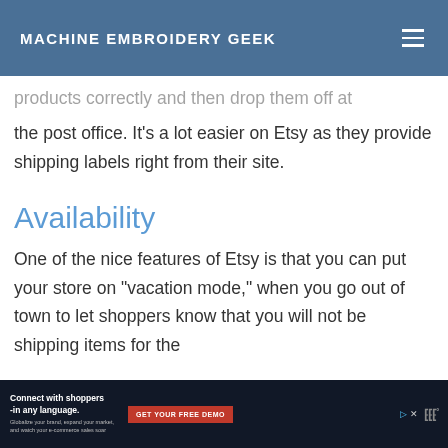MACHINE EMBROIDERY GEEK
products correctly and then drop them off at the post office. It’s a lot easier on Etsy as they provide shipping labels right from their site.
Availability
One of the nice features of Etsy is that you can put your store on “vacation mode,” when you go out of town to let shoppers know that you will not be shipping items for the